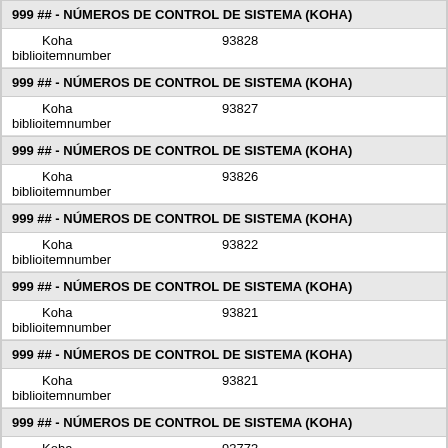999 ## - NÚMEROS DE CONTROL DE SISTEMA (KOHA)
Koha biblioitemnumber 93828
999 ## - NÚMEROS DE CONTROL DE SISTEMA (KOHA)
Koha biblioitemnumber 93827
999 ## - NÚMEROS DE CONTROL DE SISTEMA (KOHA)
Koha biblioitemnumber 93826
999 ## - NÚMEROS DE CONTROL DE SISTEMA (KOHA)
Koha biblioitemnumber 93822
999 ## - NÚMEROS DE CONTROL DE SISTEMA (KOHA)
Koha biblioitemnumber 93821
999 ## - NÚMEROS DE CONTROL DE SISTEMA (KOHA)
Koha biblioitemnumber 93821
999 ## - NÚMEROS DE CONTROL DE SISTEMA (KOHA)
Koha 93773